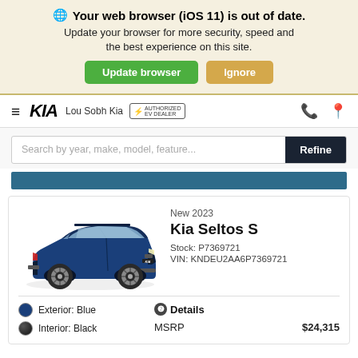🌐 Your web browser (iOS 11) is out of date. Update your browser for more security, speed and the best experience on this site. Update browser | Ignore
≡ KIA  Lou Sobh Kia  [EV badge]  📞 📍
Search by year, make, model, feature...  Refine
New 2023
Kia Seltos S
Stock: P7369721
VIN: KNDEU2AA6P7369721
❷Details
MSRP  $24,315
Exterior: Blue
Interior: Black